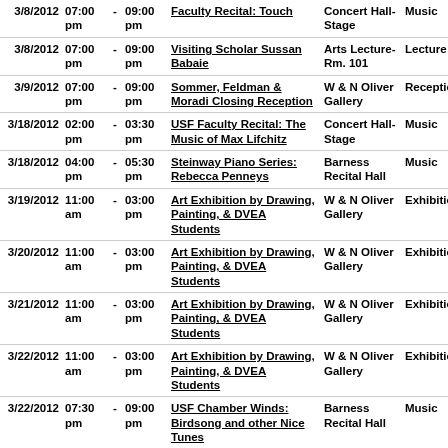| Date | Start |  | End | Event | Location | Type |
| --- | --- | --- | --- | --- | --- | --- |
| 3/8/2012 | 07:00 pm | - | 09:00 pm | Faculty Recital: Touch | Concert Hall-Stage | Music |
| 3/8/2012 | 07:00 pm | - | 09:00 pm | Visiting Scholar Sussan Babaie | Arts Lecture-Rm. 101 | Lecture |
| 3/9/2012 | 07:00 pm | - | 09:00 pm | Sommer, Feldman & Moradi Closing Reception | W & N Oliver Gallery | Reception |
| 3/18/2012 | 02:00 pm | - | 03:30 pm | USF Faculty Recital: The Music of Max Lifchitz | Concert Hall-Stage | Music |
| 3/18/2012 | 04:00 pm | - | 05:30 pm | Steinway Piano Series: Rebecca Penneys | Barness Recital Hall | Music |
| 3/19/2012 | 11:00 am | - | 03:00 pm | Art Exhibition by Drawing, Painting, & DVEA Students | W & N Oliver Gallery | Exhibition |
| 3/20/2012 | 11:00 am | - | 03:00 pm | Art Exhibition by Drawing, Painting, & DVEA Students | W & N Oliver Gallery | Exhibition |
| 3/21/2012 | 11:00 am | - | 03:00 pm | Art Exhibition by Drawing, Painting, & DVEA Students | W & N Oliver Gallery | Exhibition |
| 3/22/2012 | 11:00 am | - | 03:00 pm | Art Exhibition by Drawing, Painting, & DVEA Students | W & N Oliver Gallery | Exhibition |
| 3/22/2012 | 07:30 pm | - | 09:00 pm | USF Chamber Winds: Birdsong and other Nice Tunes | Barness Recital Hall | Music |
| 3/23/2012 | 07:30 pm | - | 09:30 pm | USF's Opera Workshop Presents: A Concert of Opera Scenes | Concert Hall-Stage | Music |
| 3/23/2012 | 07:00 pm | - | 09:00 pm | Drawing, Painting, & DVEA Students Closing Reception | W & N Oliver Gallery | Reception |
| 3/26/2012 | 11:00 am | - | 03:00 pm | Annual Juried Exhibition and Competition | W & N Oliver Gallery | Exhibition |
| 3/26/2012 | 07:30 pm | - | 09:00 pm | Monday Night Jazz | Concert Hall-Stage | Music |
| 3/27/2012 | 11:00 am | - | 03:00 pm | Annual Juried Exhibition | W & N Oliver Gallery | Exhibition |